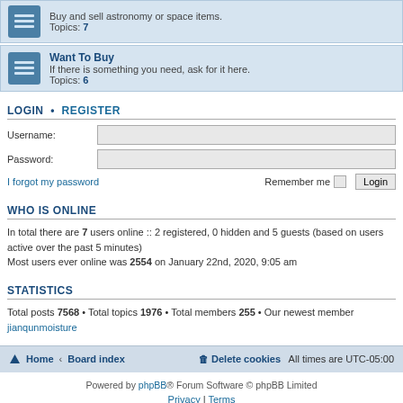Buy and sell astronomy or space items. Topics: 7
Want To Buy
If there is something you need, ask for it here. Topics: 6
LOGIN • REGISTER
Username:
Password:
I forgot my password    Remember me    Login
WHO IS ONLINE
In total there are 7 users online :: 2 registered, 0 hidden and 5 guests (based on users active over the past 5 minutes)
Most users ever online was 2554 on January 22nd, 2020, 9:05 am
STATISTICS
Total posts 7568 • Total topics 1976 • Total members 255 • Our newest member jianqunmoisture
Home · Board index    Delete cookies    All times are UTC-05:00
Powered by phpBB® Forum Software © phpBB Limited
Privacy | Terms